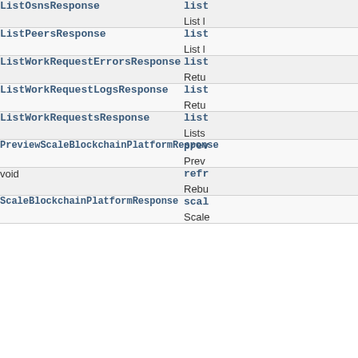| Type | Method/Description |
| --- | --- |
| ListOsnsResponse | list…
List l… |
| ListPeersResponse | list…
List l… |
| ListWorkRequestErrorsResponse | list…
Retu… |
| ListWorkRequestLogsResponse | list…
Retu… |
| ListWorkRequestsResponse | list…
Lists… |
| PreviewScaleBlockchainPlatformResponse | prev…
Prev… |
| void | refr…
Rebu… |
| ScaleBlockchainPlatformResponse | scal…
Scale… |